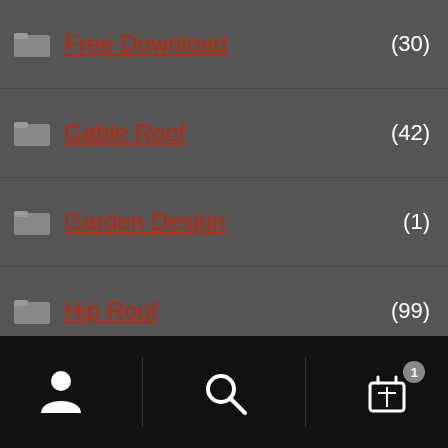Free Download (30)
Gable Roof (42)
Garden Design (1)
Hip Roof (99)
Narrow House (7)
One Story House (232)
Shed Roof (67)
Terrace Roof (100)
Three Story House (31)
Two Story House (131)
[Figure (screenshot): Bottom navigation bar with user profile icon, search icon, and shopping cart icon with badge showing 1]